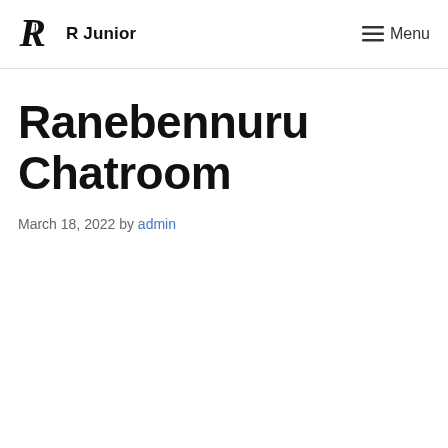R Junior  Menu
Ranebennuru Chatroom
March 18, 2022 by admin